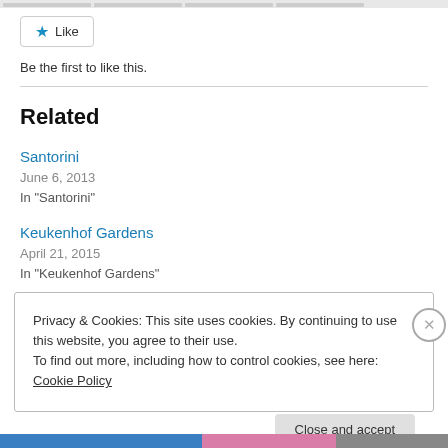[Figure (other): Like button with star icon]
Be the first to like this.
Related
Santorini
June 6, 2013
In "Santorini"
Keukenhof Gardens
April 21, 2015
In "Keukenhof Gardens"
Privacy & Cookies: This site uses cookies. By continuing to use this website, you agree to their use. To find out more, including how to control cookies, see here: Cookie Policy